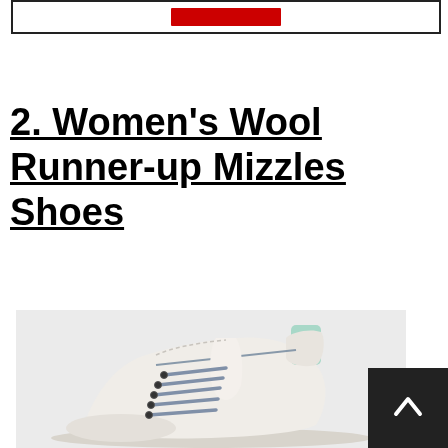[Figure (other): Top banner with red button, cropped from previous section]
2. Women's Wool Runner-up Mizzles Shoes
[Figure (photo): Light grey/cream colored Women's Wool Runner-up Mizzles Shoes with blue-grey laces and mint green heel tab, shown at an angle from the side]
[Figure (other): Dark scroll-to-top button with upward chevron arrow in bottom right corner]